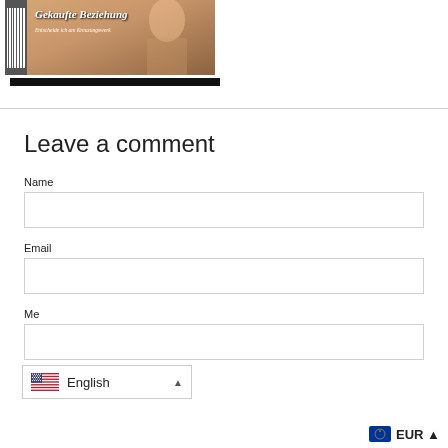[Figure (illustration): Book cover image for 'Gekaufte Beziehung' with barcode on the left and a person's image on the cover, with a black bar below]
Leave a comment
Name
Email
Message
[Figure (screenshot): Language selector dropdown showing US flag and 'English' with dropdown arrow]
EUR